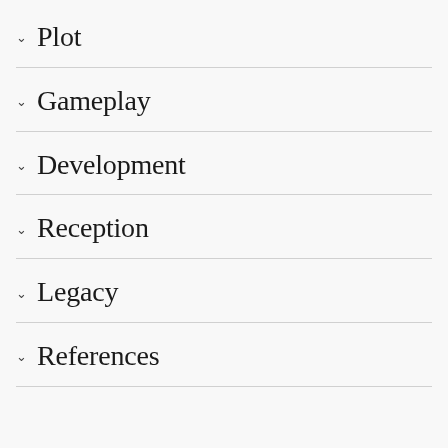Plot
Gameplay
Development
Reception
Legacy
References